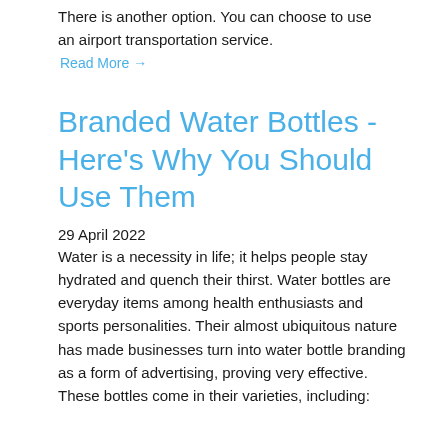There is another option. You can choose to use an airport transportation service.
Read More →
Branded Water Bottles - Here's Why You Should Use Them
29 April 2022
Water is a necessity in life; it helps people stay hydrated and quench their thirst. Water bottles are everyday items among health enthusiasts and sports personalities. Their almost ubiquitous nature has made businesses turn into water bottle branding as a form of advertising, proving very effective. These bottles come in their varieties, including: